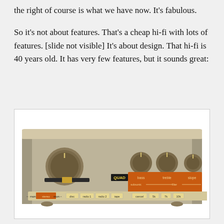the right of course is what we have now. It's fabulous.
So it's not about features. That's a cheap hi-fi with lots of features. [slide not visible] It's about design. That hi-fi is 40 years old. It has very few features, but it sounds great:
[Figure (photo): Photograph of a vintage QUAD hi-fi amplifier/preamplifier with a beige/gold chassis, a large volume knob on the left, three smaller knobs on the right side over an orange panel labeled with bass, treble, and slope controls, and a row of input selector buttons at the bottom including stereo, disc, radio 1, radio 2, tape, cancel, 5k, 7k, 10k.]